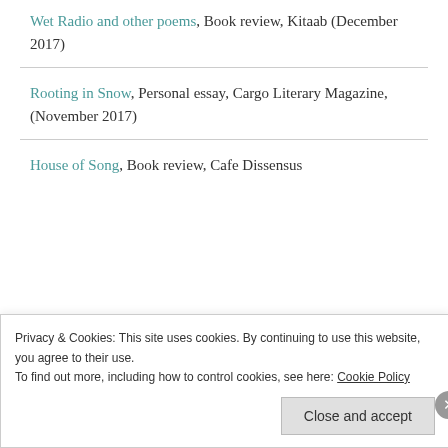Wet Radio and other poems, Book review, Kitaab (December 2017)
Rooting in Snow, Personal essay, Cargo Literary Magazine, (November 2017)
House of Song, Book review, Cafe Dissensus
Privacy & Cookies: This site uses cookies. By continuing to use this website, you agree to their use. To find out more, including how to control cookies, see here: Cookie Policy
Close and accept